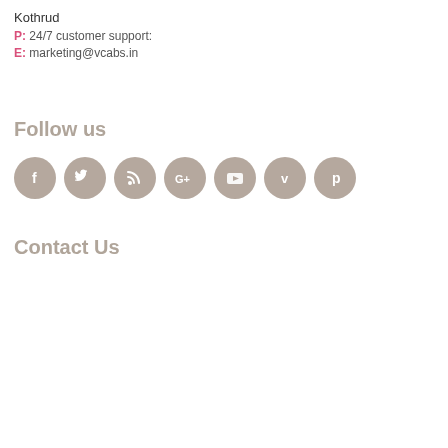Kothrud
P: 24/7 customer support:
E: marketing@vcabs.in
Follow us
[Figure (infographic): Row of 7 circular social media icons (Facebook, Twitter, RSS, Google+, YouTube, Vimeo, Pinterest) in beige/taupe color]
Contact Us